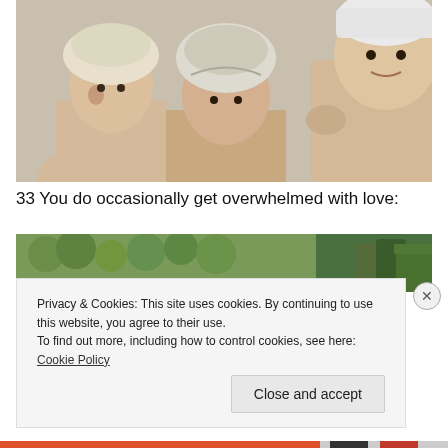[Figure (photo): Three children with improvised head coverings made from plastic bags, standing shirtless, appearing to be in a bathroom or similar setting.]
33 You do occasionally get overwhelmed with love:
[Figure (photo): Partial image showing green foliage and what appears to be garden equipment being held.]
Privacy & Cookies: This site uses cookies. By continuing to use this website, you agree to their use.
To find out more, including how to control cookies, see here: Cookie Policy
Close and accept